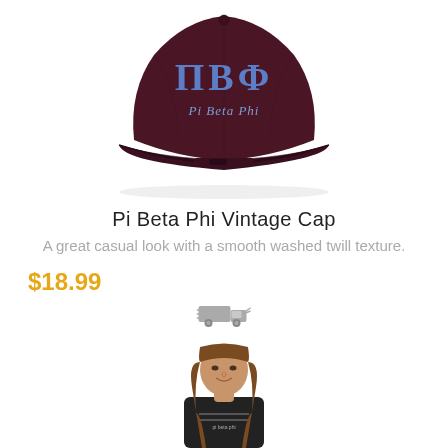[Figure (photo): Maroon/dark red baseball cap with blue Greek letters ΠΒΦ (Pi Beta Phi) embroidered on the front, and 'Pi Beta Phi' in script below the letters.]
Pi Beta Phi Vintage Cap
A great casual look with a smooth washed twill texture.
$18.99
[Figure (illustration): Small gray shipping truck icon indicating fast/free shipping.]
[Figure (photo): Young woman with long brown hair wearing a black t-shirt with Pi Beta Phi graphics.]